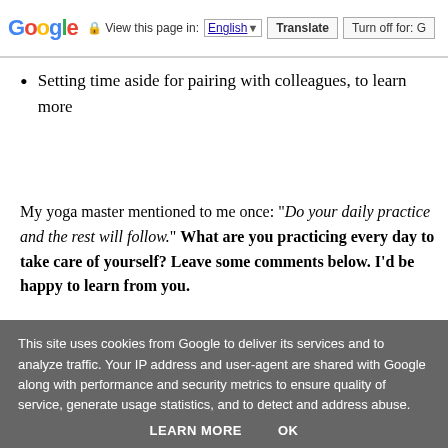Google  View this page in: English [▼]  Translate  Turn off for: G
Setting time aside for pairing with colleagues, to learn more
My yoga master mentioned to me once: "Do your daily practice and the rest will follow." What are you practicing every day to take care of yourself? Leave some comments below. I'd be happy to learn from you.
This site uses cookies from Google to deliver its services and to analyze traffic. Your IP address and user-agent are shared with Google along with performance and security metrics to ensure quality of service, generate usage statistics, and to detect and address abuse.
LEARN MORE   OK